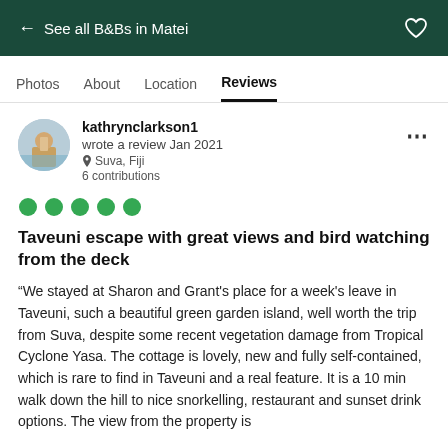← See all B&Bs in Matei
Photos   About   Location   Reviews
kathrynclarkson1
wrote a review Jan 2021
Suva, Fiji
6 contributions
[Figure (other): 5 green filled circles representing a 5-bubble rating (full score)]
Taveuni escape with great views and bird watching from the deck
“We stayed at Sharon and Grant's place for a week's leave in Taveuni, such a beautiful green garden island, well worth the trip from Suva, despite some recent vegetation damage from Tropical Cyclone Yasa. The cottage is lovely, new and fully self-contained, which is rare to find in Taveuni and a real feature. It is a 10 min walk down the hill to nice snorkelling, restaurant and sunset drink options. The view from the property is